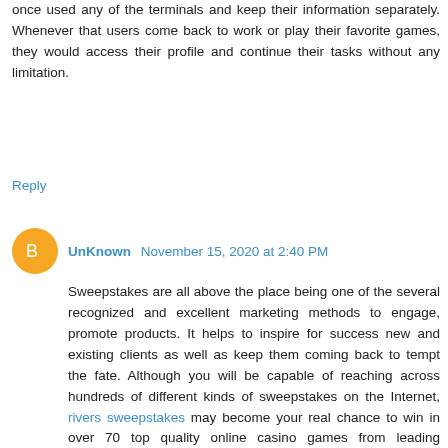once used any of the terminals and keep their information separately. Whenever that users come back to work or play their favorite games, they would access their profile and continue their tasks without any limitation.
Reply
UnKnown  November 15, 2020 at 2:40 PM
Sweepstakes are all above the place being one of the several recognized and excellent marketing methods to engage, promote products. It helps to inspire for success new and existing clients as well as keep them coming back to tempt the fate. Although you will be capable of reaching across hundreds of different kinds of sweepstakes on the Internet, rivers sweepstakes may become your real chance to win in over 70 top quality online casino games from leading gambling companies and use 100% useful management tools to reach your goals.
Reply